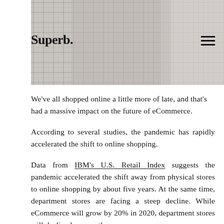[Figure (photo): Header photo showing a person wearing a plaid/checked shirt, partially visible, with a light background. The Superb. logo overlays the top-left of the image.]
Superb.
We've all shopped online a little more of late, and that's had a massive impact on the future of eCommerce.
According to several studies, the pandemic has rapidly accelerated the shift to online shopping.
Data from IBM's U.S. Retail Index suggests the pandemic accelerated the shift away from physical stores to online shopping by about five years. At the same time, department stores are facing a steep decline. While eCommerce will grow by 20% in 2020, department stores will decline by more than